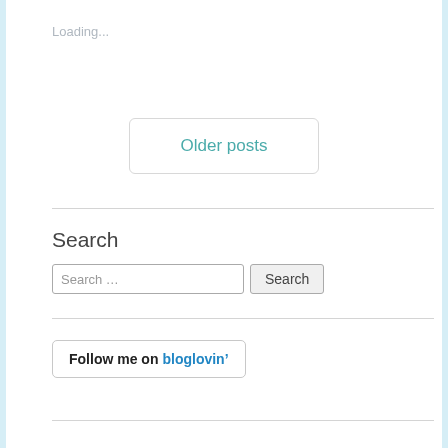Loading...
Older posts
Search
Search …
[Figure (other): Follow me on bloglovin' button/badge]